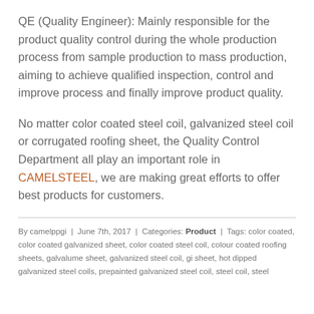QE (Quality Engineer): Mainly responsible for the product quality control during the whole production process from sample production to mass production, aiming to achieve qualified inspection, control and improve process and finally improve product quality.
No matter color coated steel coil, galvanized steel coil or corrugated roofing sheet, the Quality Control Department all play an important role in CAMELSTEEL, we are making great efforts to offer best products for customers.
By camelppgi | June 7th, 2017 | Categories: Product | Tags: color coated, color coated galvanized sheet, color coated steel coil, colour coated roofing sheets, galvalume sheet, galvanized steel coil, gi sheet, hot dipped galvanized steel coils, prepainted galvanized steel coil, steel coil, steel